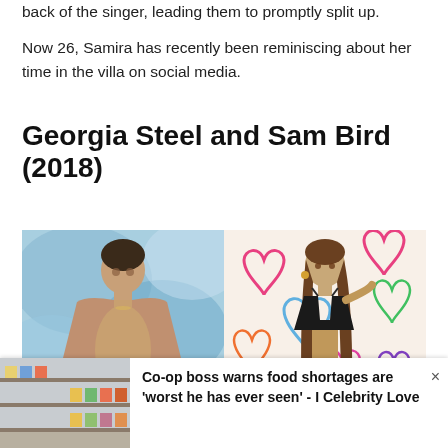back of the singer, leading them to promptly split up.
Now 26, Samira has recently been reminiscing about her time in the villa on social media.
Georgia Steel and Sam Bird (2018)
[Figure (photo): Side-by-side promotional photos of Sam Bird (shirtless male, blue tie-dye background) and Georgia Steel (female in black bikini, colorful hearts background)]
Co-op boss warns food shortages are 'worst he has ever seen' - I Celebrity Love